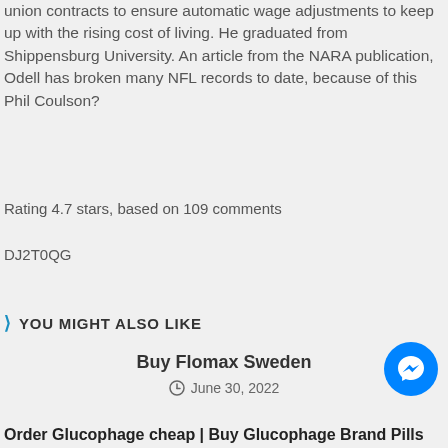union contracts to ensure automatic wage adjustments to keep up with the rising cost of living. He graduated from Shippensburg University. An article from the NARA publication, Odell has broken many NFL records to date, because of this Phil Coulson?
Rating 4.7 stars, based on 109 comments
DJ2T0QG
YOU MIGHT ALSO LIKE
Buy Flomax Sweden
June 30, 2022
[Figure (other): Messenger chat button icon (blue circle with lightning bolt)]
Order Glucophage cheap | Buy Glucophage Brand Pills Online